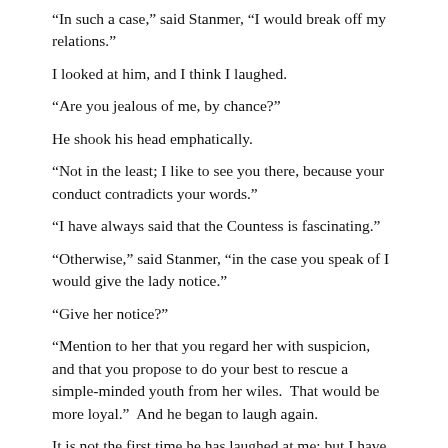“In such a case,” said Stanmer, “I would break off my relations.”
I looked at him, and I think I laughed.
“Are you jealous of me, by chance?”
He shook his head emphatically.
“Not in the least; I like to see you there, because your conduct contradicts your words.”
“I have always said that the Countess is fascinating.”
“Otherwise,” said Stanmer, “in the case you speak of I would give the lady notice.”
“Give her notice?”
“Mention to her that you regard her with suspicion, and that you propose to do your best to rescue a simple-minded youth from her wiles.  That would be more loyal.”  And he began to laugh again.
It is not the first time he has laughed at me; but I have never minded it, because I have always understood it.
“Is that what you recommend me to say to the